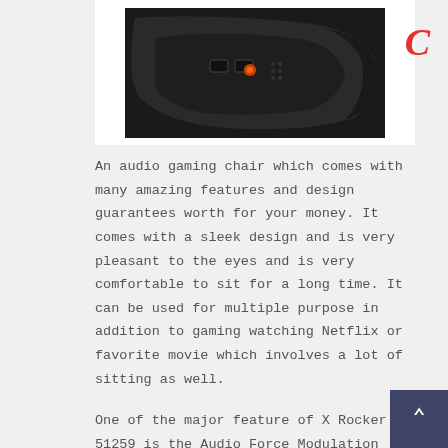[Figure (photo): Partial photo of a black gaming chair/headset connector showing ports and connectors, with a partial red letter C visible on the right side]
An audio gaming chair which comes with many amazing features and design guarantees worth for your money. It comes with a sleek design and is very pleasant to the eyes and is very comfortable to sit for a long time. It can be used for multiple purpose in addition to gaming watching Netflix or favorite movie which involves a lot of sitting as well.
One of the major feature of X Rocker 51259 is the Audio Force Modulation (AFM) technology, which utilizes both speakers and a subwoofer to enhance the sound quality.